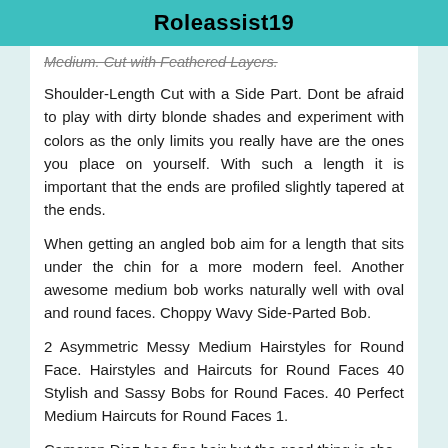Roleassist19
Medium. Cut with Feathered Layers.
Shoulder-Length Cut with a Side Part. Dont be afraid to play with dirty blonde shades and experiment with colors as the only limits you really have are the ones you place on yourself. With such a length it is important that the ends are profiled slightly tapered at the ends.
When getting an angled bob aim for a length that sits under the chin for a more modern feel. Another awesome medium bob works naturally well with oval and round faces. Choppy Wavy Side-Parted Bob.
2 Asymmetric Messy Medium Hairstyles for Round Face. Hairstyles and Haircuts for Round Faces 40 Stylish and Sassy Bobs for Round Faces. 40 Perfect Medium Haircuts for Round Faces 1.
Cameron Diaz has fine hair but the good thing is she